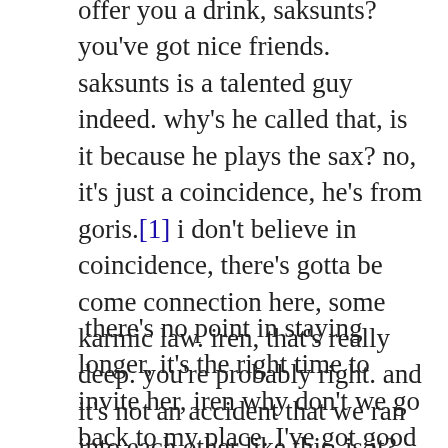offer you a drink, saksunts? you've got nice friends. saksunts is a talented guy indeed. why's he called that, is it because he plays the sax? no, it's just a coincidence, he's from goris.[1] i don't believe in coincidence, there's gotta be come connection here, some karmic law. iren, that's really deep. you're probably right. and it's not an accident that we ran into each other like this, is it? iren's answer is in her smile, caressing and maddening. you're so attractive, you make me crazy. such words!
there's no point in staying longer, it's the right time to invite her, iren why don't we go back to my place. I've got good whiskey and an awesome collection of jazz cds, crazy stuff. do you have a shower at your place, iren asks with a coy smile and brushes her hair back with her fingers. yes, i do, and running hot and cold water around the clock. iren smiles again, that maddening smile. what about the whiskey? it's blue